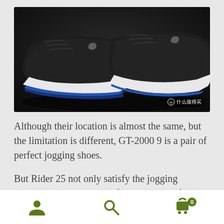[Figure (photo): Close-up photo of two running shoes (Mizuno) from behind, showing the heel and sole area. The shoes are dark/black with white and blue midsoles. Text watermark in Chinese: 什么值得买]
Although their location is almost the same, but the limitation is different, GT-2000 9 is a pair of perfect jogging shoes.
But Rider 25 not only satisfy the jogging request, but also can satisfy the request of some speed training.
User icon | Search icon | Cart icon with badge 0